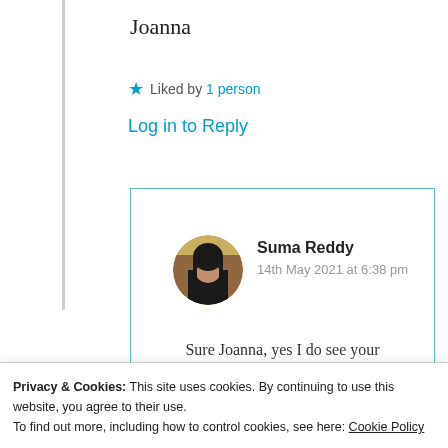Joanna
★ Liked by 1 person
Log in to Reply
Suma Reddy
14th May 2021 at 6:38 pm
Sure Joanna, yes I do see your
Privacy & Cookies: This site uses cookies. By continuing to use this website, you agree to their use.
To find out more, including how to control cookies, see here: Cookie Policy
Close and accept
Country. Thanks a lot 🙂 👍